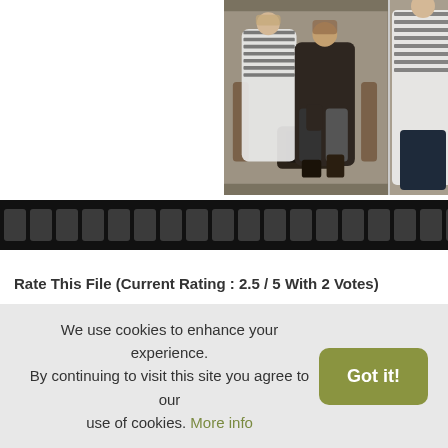[Figure (photo): Two-panel fashion photo: left panel shows a couple posing — woman in white striped top and man in dark blazer, seated with a dark case; right panel (partially visible) shows a woman in a striped top.]
[Figure (photo): Horizontal filmstrip/navigation bar with film frame holes on a black background.]
Rate This File (Current Rating : 2.5 / 5 With 2 Votes)
Designed by — Ho
We use cookies to enhance your experience. By continuing to visit this site you agree to our use of cookies. More info